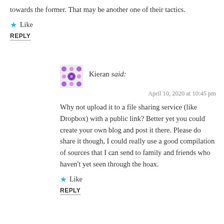towards the former. That may be another one of their tactics.
★ Like
REPLY
Kieran said:
April 10, 2020 at 10:45 pm
Why not upload it to a file sharing service (like Dropbox) with a public link? Better yet you could create your own blog and post it there. Please do share it though, I could really use a good compilation of sources that I can send to family and friends who haven't yet seen through the hoax.
★ Like
REPLY